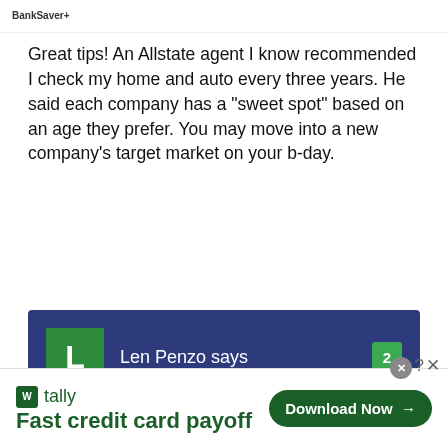[Figure (logo): BankSaver or similar logo at top left]
Great tips! An Allstate agent I know recommended I check my home and auto every three years. He said each company has a “sweet spot” based on an age they prefer. You may move into a new company’s target market on your b-day.
Len Penzo says
I think 25 was definitely one of my “sweet spots” for lower auto insurance.
[Figure (screenshot): Advertisement banner for Tally - Fast credit card payoff with Download Now button]